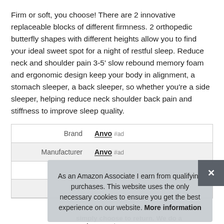Firm or soft, you choose! There are 2 innovative replaceable blocks of different firmness. 2 orthopedic butterfly shapes with different heights allow you to find your ideal sweet spot for a night of restful sleep. Reduce neck and shoulder pain 3-5' slow rebound memory foam and ergonomic design keep your body in alignment, a stomach sleeper, a back sleeper, so whether you're a side sleeper, helping reduce neck shoulder back pain and stiffness to improve sleep quality.
|  |  |
| --- | --- |
| Brand | Anvo #ad |
| Manufacturer | Anvo #ad |
| P |  |
As an Amazon Associate I earn from qualifying purchases. This website uses the only necessary cookies to ensure you get the best experience on our website. More information
simply choose to return. We do a replacement